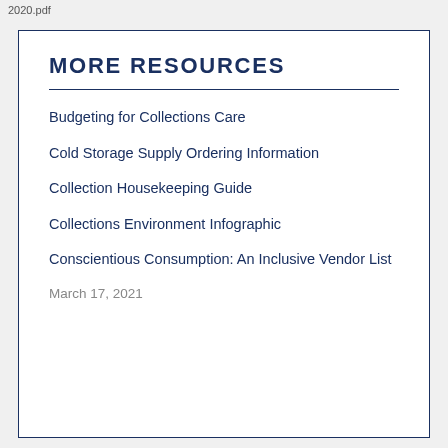2020.pdf
MORE RESOURCES
Budgeting for Collections Care
Cold Storage Supply Ordering Information
Collection Housekeeping Guide
Collections Environment Infographic
Conscientious Consumption: An Inclusive Vendor List
March 17, 2021